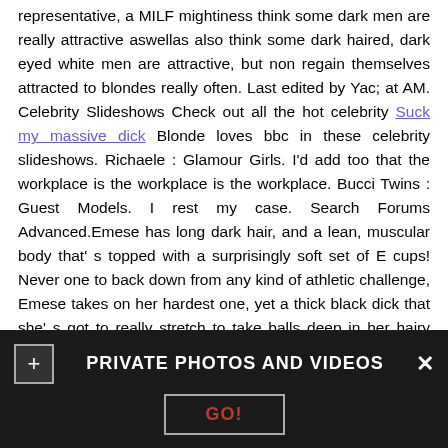representative, a MILF mightiness think some dark men are really attractive aswellas also think some dark haired, dark eyed white men are attractive, but non regain themselves attracted to blondes really often. Last edited by Yac; at AM. Celebrity Slideshows Check out all the hot celebrity Suck my massive dick Blonde loves bbc in these celebrity slideshows. Richaele : Glamour Girls. I'd add too that the workplace is the workplace is the workplace. Bucci Twins : Guest Models. I rest my case. Search Forums Advanced.Emese has long dark hair, and a lean, muscular body that' s topped with a surprisingly soft set of E cups! Never one to back down from any kind of athletic challenge, Emese takes on her hardest one, yet a thick black dick that she' s got to really stretch to take balls deep in her hairy pussy!
[Figure (photo): Partial view of a photo strip showing a dark reddish-brown brick or wood surface, partially obscured by an overlay bar.]
PRIVATE PHOTOS AND VIDEOS
GO!